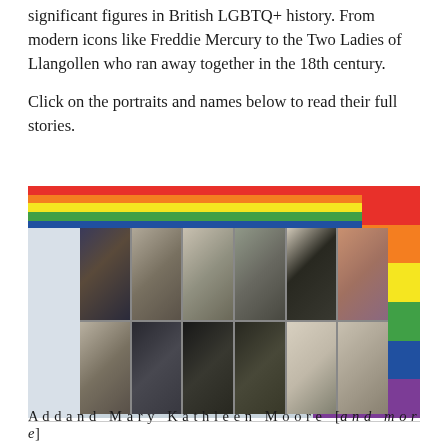significant figures in British LGBTQ+ history. From modern icons like Freddie Mercury to the Two Ladies of Llangollen who ran away together in the 18th century.
Click on the portraits and names below to read their full stories.
[Figure (photo): A collage of portrait photographs of significant LGBTQ+ figures set against a rainbow pride flag background. Top row shows 6 black and white/sepia portraits; bottom row shows 6 more portraits including some in color.]
A d d a n d M a r y K a t h l e e n M o o r e [truncated]